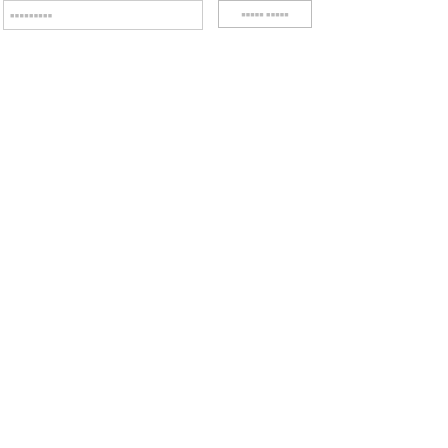[Figure (other): Partial view of two document fragments at the top of the page: a left fragment with faint text, and a right fragment showing a small boxed/bordered element with faint text inside, both cut off at the top edge.]